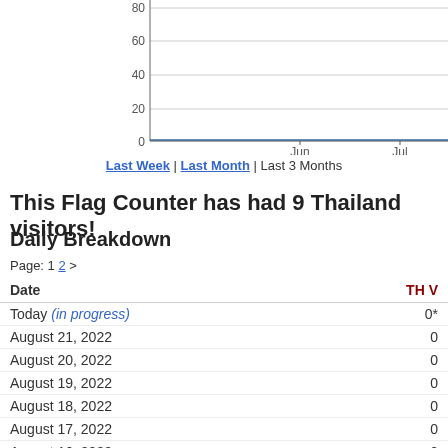[Figure (line-chart): Partial line chart showing visitor counts over time with y-axis (0,20,40,60,80) and x-axis labels Jun, Jul. Data is near zero throughout.]
Last Week | Last Month | Last 3 Months
This Flag Counter has had 9 Thailand visitors!
Daily Breakdown
Page: 1 2 >
| Date | TH V |
| --- | --- |
| Today (in progress) | 0* |
| August 21, 2022 | 0 |
| August 20, 2022 | 0 |
| August 19, 2022 | 0 |
| August 18, 2022 | 0 |
| August 17, 2022 | 0 |
| August 16, 2022 | 0 |
| August 15, 2022 | 0 |
| August 14, 2022 | 0 |